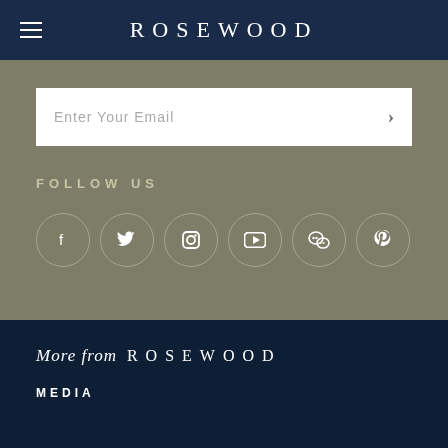ROSEWOOD
[Figure (other): Email input field with placeholder text 'Enter Your Email' and a right arrow button]
FOLLOW US
[Figure (other): Row of six social media icon circles: Facebook, Twitter, Instagram, YouTube, WeChat, Pinterest]
More from ROSEWOOD
MEDIA